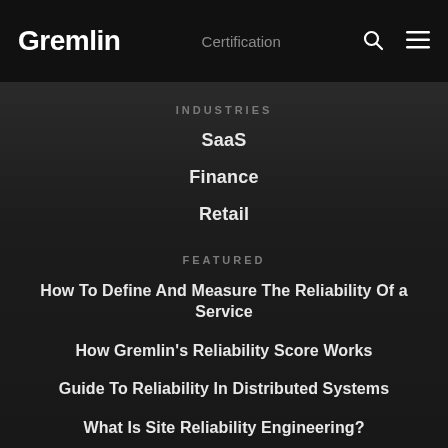Gremlin | Certification
INDUSTRIES
SaaS
Finance
Retail
FEATURED
How To Define And Measure The Reliability Of a Service
How Gremlin's Reliability Score Works
Guide To Reliability In Distributed Systems
What Is Site Reliability Engineering?